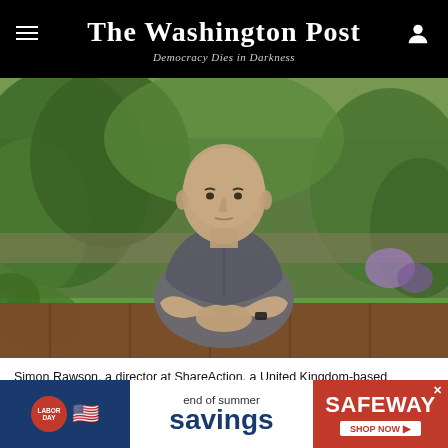The Washington Post — Democracy Dies in Darkness
[Figure (photo): Simon Rawson, a bald man in a grey shirt, sitting outside at a wooden table with his hands clasped, in a garden setting with green shrubs and flowers in the background, photographed in Brighton, England.]
Simon Rawson, a director at ShareAction, a United Kingdom-based nonprofit that works to promote better corporate behavior, sits outside at his residence in Brighton, England, on Sept. 4, 2021. Rawson says energy company boards have failed to hold executives accountable for
[Figure (other): Safeway end of summer savings advertisement banner with Labor Day branding, American flag, and Safeway logo with Shop Now button.]